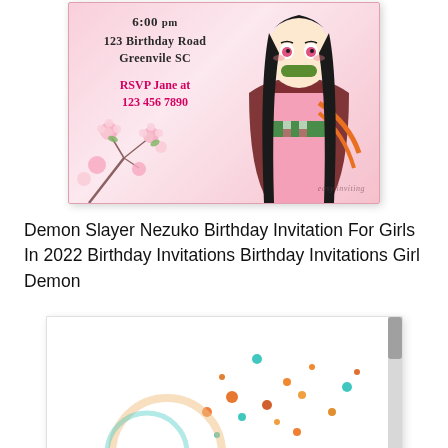[Figure (illustration): Anime-style birthday invitation card with Nezuko character from Demon Slayer. Card shows text: 6:00 pm, 123 Birthday Road, Greenvile SC, RSVP Jane at 123 456 7890. Pink background with cherry blossom flowers on left and anime girl character in kimono on right. Watermark reads 'easy inviting'.]
Demon Slayer Nezuko Birthday Invitation For Girls In 2022 Birthday Invitations Birthday Invitations Girl Demon
[Figure (illustration): Partial view of another birthday invitation card, white background with small colorful confetti dots visible. Bottom portion of image is shown with a scrollbar on the right side.]